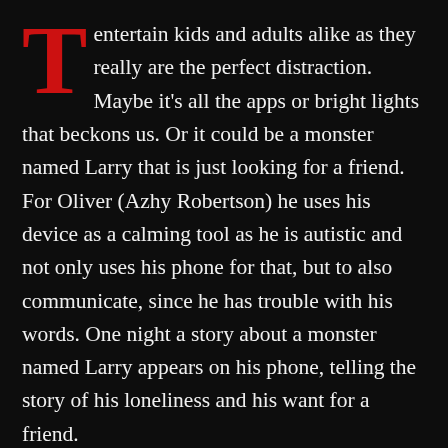T entertain kids and adults alike as they really are the perfect distraction. Maybe it's all the apps or bright lights that beckons us. Or it could be a monster named Larry that is just looking for a friend. For Oliver (Azhy Robertson) he uses his device as a calming tool as he is autistic and not only uses his phone for that, but to also communicate, since he has trouble with his words. One night a story about a monster named Larry appears on his phone, telling the story of his loneliness and his want for a friend.
Oliver doesn't sleep well that night and in the morning he is convinced by his mom Sarah (Gillian Jacobs) that it was just a nightmare. Things though